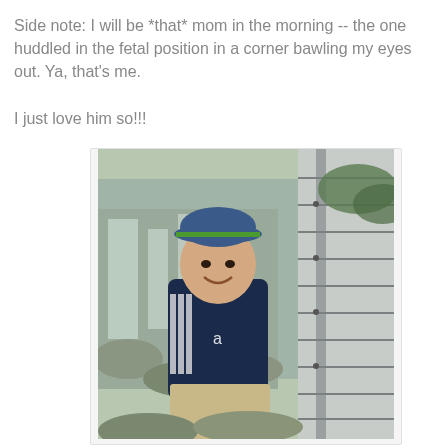Side note: I will be *that* mom in the morning -- the one huddled in the fetal position in a corner bawling my eyes out. Ya, that's me.

I just love him so!!!
[Figure (photo): A young boy wearing a blue baseball cap and a navy Adidas track jacket, smiling at the camera. He is standing in front of a waterfall and a metal railing/fence structure. He is wearing khaki shorts.]